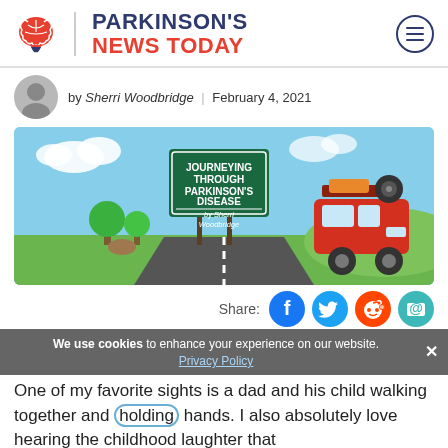[Figure (logo): Parkinson's News Today logo with brain icon, red and navy text]
by Sherri Woodbridge | February 4, 2021
[Figure (illustration): Illustrated road scene with green highway sign reading 'Journeying Through Parkinson's Disease by Sherri Woodbridge' and a red VW van driving on a road with trees and blue sky]
Share:
[Figure (infographic): Social share icons: Facebook (blue), Twitter (light blue), Reddit (orange), Email (teal)]
We use cookies to enhance your experience on our website. Privacy Policy
One of my favorite sights is a dad and his child walking together and holding hands. I also absolutely love hearing the childhood laughter that